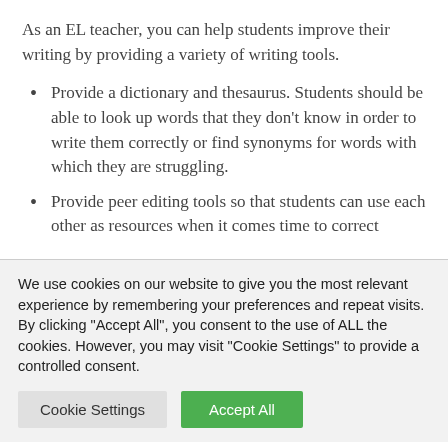As an EL teacher, you can help students improve their writing by providing a variety of writing tools.
Provide a dictionary and thesaurus. Students should be able to look up words that they don't know in order to write them correctly or find synonyms for words with which they are struggling.
Provide peer editing tools so that students can use each other as resources when it comes time to correct
We use cookies on our website to give you the most relevant experience by remembering your preferences and repeat visits. By clicking "Accept All", you consent to the use of ALL the cookies. However, you may visit "Cookie Settings" to provide a controlled consent.